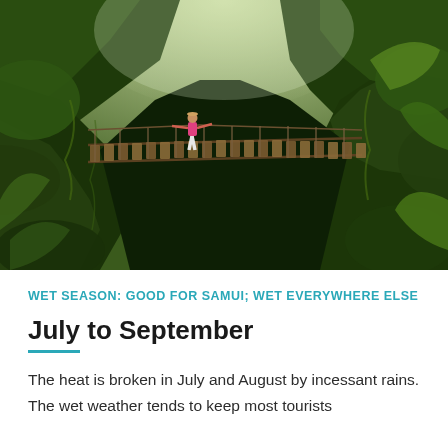[Figure (photo): A hiker with a pink backpack crosses a narrow wooden suspension bridge over a lush green jungle gorge, surrounded by dense tropical vegetation and moss-covered cliffs.]
WET SEASON: GOOD FOR SAMUI; WET EVERYWHERE ELSE
July to September
The heat is broken in July and August by incessant rains. The wet weather tends to keep most tourists